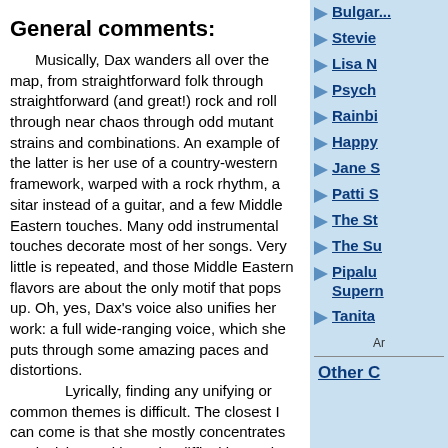General comments:
Musically, Dax wanders all over the map, from straightforward folk through straightforward (and great!) rock and roll through near chaos through odd mutant strains and combinations. An example of the latter is her use of a country-western framework, warped with a rock rhythm, a sitar instead of a guitar, and a few Middle Eastern touches. Many odd instrumental touches decorate most of her songs. Very little is repeated, and those Middle Eastern flavors are about the only motif that pops up. Oh, yes, Dax's voice also unifies her work: a full wide-ranging voice, which she puts through some amazing paces and distortions.
Lyrically, finding any unifying or common themes is difficult. The closest I can come is that she mostly concentrates on decision-making—the difficulties and uncertainties of knowing the right choice to make and living with the consequences of a song and our right decisions. A
Bulgar...
Stevie
Lisa N
Psych
Rainbi
Happy
Jane S
Patti S
The St
The Su
Pipalu Supern
Tanita
Ar
Other C